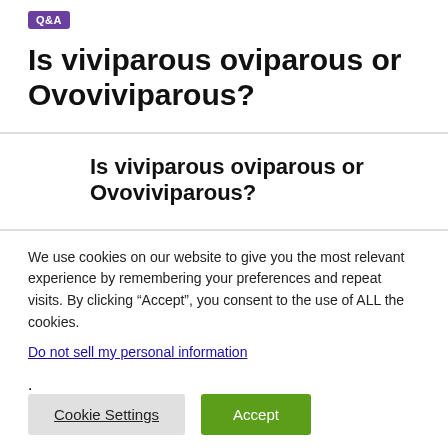Q&A
Is viviparous oviparous or Ovoviviparous?
Is viviparous oviparous or Ovoviviparous?
We use cookies on our website to give you the most relevant experience by remembering your preferences and repeat visits. By clicking “Accept”, you consent to the use of ALL the cookies.
Do not sell my personal information.